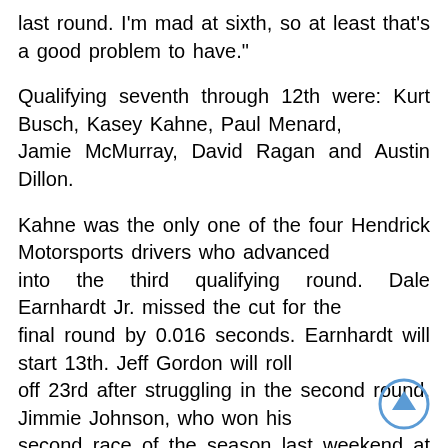last round. I'm mad at sixth, so at least that's a good problem to have."
Qualifying seventh through 12th were: Kurt Busch, Kasey Kahne, Paul Menard, Jamie McMurray, David Ragan and Austin Dillon.
Kahne was the only one of the four Hendrick Motorsports drivers who advanced into the third qualifying round. Dale Earnhardt Jr. missed the cut for the final round by 0.016 seconds. Earnhardt will start 13th. Jeff Gordon will roll off 23rd after struggling in the second round. Jimmie Johnson, who won his second race of the season last weekend at Texas, failed to make it out of